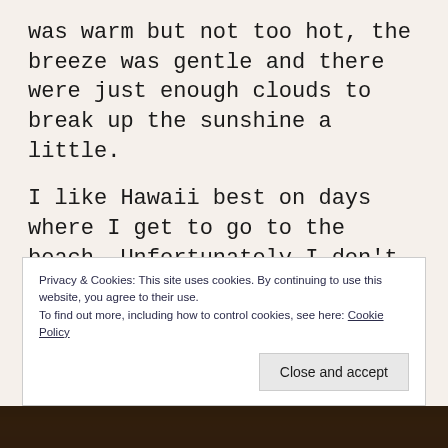was warm but not too hot, the breeze was gentle and there were just enough clouds to break up the sunshine a little.
I like Hawaii best on days where I get to go to the beach. Unfortunately I don't get them as often as I'd like, but I think I go less than I could because there are always plenty of other things to occupy time. I should go more often, though, especially on days when I'm not working. It'd be good for me, I think.
Privacy & Cookies: This site uses cookies. By continuing to use this website, you agree to their use.
To find out more, including how to control cookies, see here: Cookie Policy
[Figure (photo): Thumbnail strip of photos at the bottom of the page showing tropical/Hawaii scenery with palm trees]